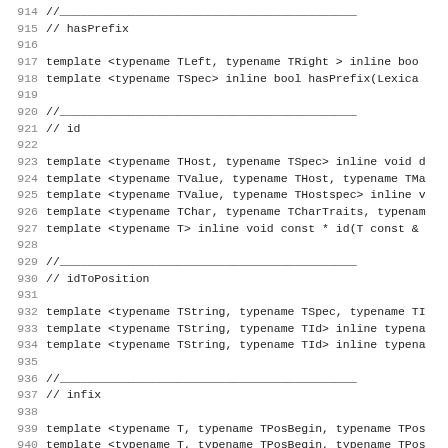914 //
915 // hasPrefix
916 
917 template <typename TLeft, typename TRight > inline boo
918 template <typename TSpec> inline bool hasPrefix(Lexica
919 
920 //
921 // id
922 
923 template <typename THost, typename TSpec> inline void d
924 template <typename TValue, typename THost, typename TMa
925 template <typename TValue, typename THostspec> inline v
926 template <typename TChar, typename TCharTraits, typenam
927 template <typename T> inline void const * id(T const &
928 
929 //
930 // idToPosition
931 
932 template <typename TString, typename TSpec, typename TI
933 template <typename TString, typename TId> inline typena
934 template <typename TString, typename TId> inline typena
935 
936 //
937 // infix
938 
939 template <typename T, typename TPosBegin, typename TPos
940 template <typename T, typename TPosBegin, typename TPos
941 template <typename T, typename TSpec, typename TPosBegin
942 template <typename T, typename TSpec, typename TPosBegin
943 
944 //
945 // infixWithLength
946